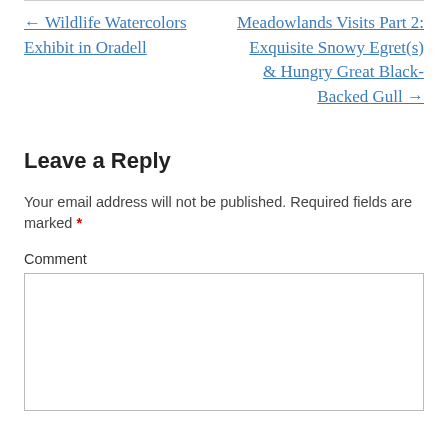← Wildlife Watercolors Exhibit in Oradell
Meadowlands Visits Part 2: Exquisite Snowy Egret(s) & Hungry Great Black-Backed Gull →
Leave a Reply
Your email address will not be published. Required fields are marked *
Comment